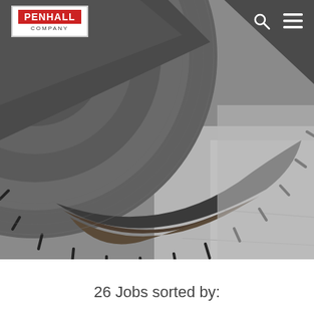[Figure (photo): Close-up photograph of a large diamond saw blade used for concrete cutting, showing the segmented edge and worn grinding surface. The blade is dark gray/black with visible slots cut into the rim. Background shows a concrete surface.]
26 Jobs sorted by: